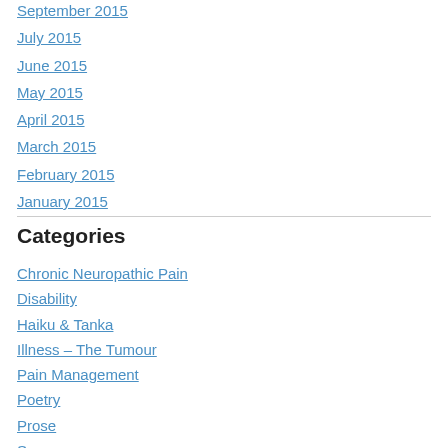September 2015
July 2015
June 2015
May 2015
April 2015
March 2015
February 2015
January 2015
Categories
Chronic Neuropathic Pain
Disability
Haiku & Tanka
Illness – The Tumour
Pain Management
Poetry
Prose
Spasm